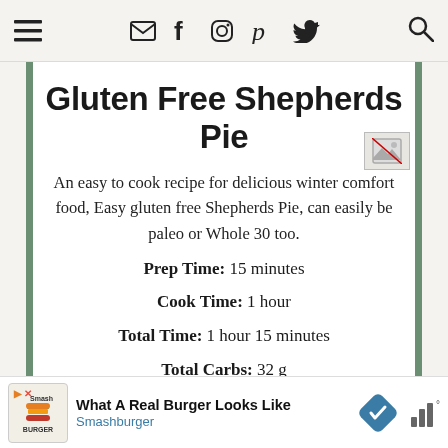≡  ✉  f  ⊙  𝗽  🐦  🔍
Gluten Free Shepherds Pie
An easy to cook recipe for delicious winter comfort food, Easy gluten free Shepherds Pie, can easily be paleo or Whole 30 too.
Prep Time: 15 minutes
Cook Time: 1 hour
Total Time: 1 hour 15 minutes
Total Carbs: 32 g
[Figure (screenshot): Broken image placeholder icon, top right of content area]
What A Real Burger Looks Like Smashburger — advertisement banner